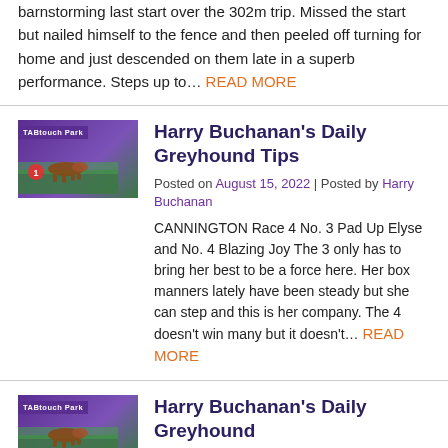barnstorming last start over the 302m trip. Missed the start but nailed himself to the fence and then peeled off turning for home and just descended on them late in a superb performance. Steps up to… READ MORE
[Figure (photo): Thumbnail image of a greyhound race at TABtouch Park, purple and green colors]
Harry Buchanan's Daily Greyhound Tips
Posted on August 15, 2022 | Posted by Harry Buchanan
CANNINGTON Race 4 No. 3 Pad Up Elyse and No. 4 Blazing Joy The 3 only has to bring her best to be a force here. Her box manners lately have been steady but she can step and this is her company. The 4 doesn't win many but it doesn't… READ MORE
[Figure (photo): Thumbnail image of a greyhound race at TABtouch Park, purple and green colors]
Harry Buchanan's Daily Greyhound